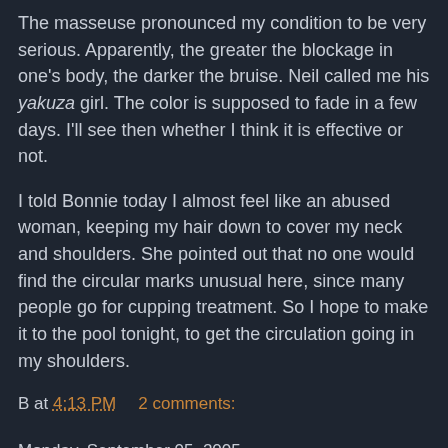The masseuse pronounced my condition to be very serious. Apparently, the greater the blockage in one’s body, the darker the bruise. Neil called me his yakuza girl. The color is supposed to fade in a few days. I’ll see then whether I think it is effective or not.
I told Bonnie today I almost feel like an abused woman, keeping my hair down to cover my neck and shoulders. She pointed out that no one would find the circular marks unusual here, since many people go for cupping treatment. So I hope to make it to the pool tonight, to get the circulation going in my shoulders.
B at 4:13 PM   2 comments:
Monday, September 05, 2005
Hurricanes, typhoons, and America at her worst
I spent much of my typhoon day last Thursday glued to